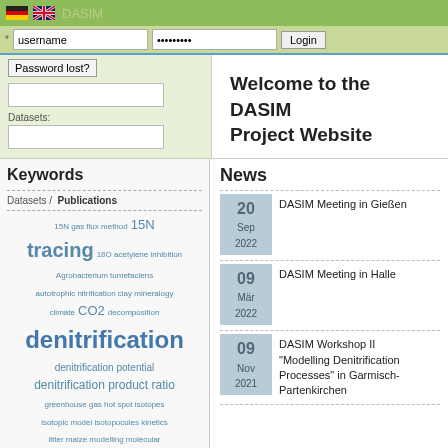DASIM
username [input] ••••••••• [input] Login
Password lost?
Datasets: [input fields]
Welcome to the DASIM Project Website
Keywords
Datasets / Publications
15N gas flux method 15N tracing 18O acetylene inhibition
Agrobacterium tumefaciens
autotrophic nitrification clay mineralogy
climate CO2 decomposition
denitrification
denitrification potential
denitrification product ratio
greenhouse gas hot spot isotopes
isotopic model isotopocules kinetics
litter maize modelling molecular
methods N transformations N use
News
20 Sep 2022 — DASIM Meeting in Gießen
09 Mär 2022 — DASIM Meeting in Halle
09 Nov 2021 — DASIM Workshop II "Modelling Denitrification Processes" in Garmisch-Partenkirchen